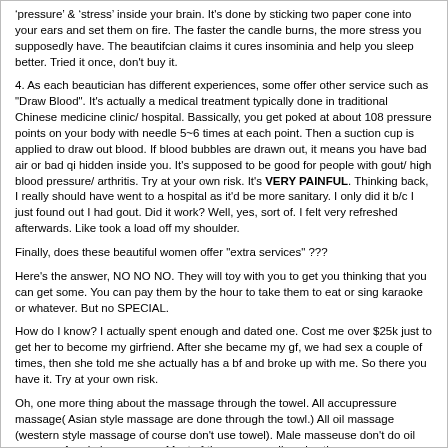'pressure' & 'stress' inside your brain. It's done by sticking two paper cone into your ears and set them on fire. The faster the candle burns, the more stress you supposedly have. The beautifcian claims it cures insominia and help you sleep better. Tried it once, don't buy it.
4. As each beautician has different experiences, some offer other service such as "Draw Blood". It's actually a medical treatment typically done in traditional Chinese medicine clinic/ hospital. Bassically, you get poked at about 108 pressure points on your body with needle 5~6 times at each point. Then a suction cup is applied to draw out blood. If blood bubbles are drawn out, it means you have bad air or bad qi hidden inside you. It's supposed to be good for people with gout/ high blood pressure/ arthritis. Try at your own risk. It's VERY PAINFUL. Thinking back, I really should have went to a hospital as it'd be more sanitary. I only did it b/c I just found out I had gout. Did it work? Well, yes, sort of. I felt very refreshed afterwards. Like took a load off my shoulder.
Finally, does these beautiful women offer "extra services" ???
Here's the answer, NO NO NO. They will toy with you to get you thinking that you can get some. You can pay them by the hour to take them to eat or sing karaoke or whatever. But no SPECIAL.
How do I know? I actually spent enough and dated one. Cost me over $25k just to get her to become my girfriend. After she became my gf, we had sex a couple of times, then she told me she actually has a bf and broke up with me. So there you have it. Try at your own risk.
Oh, one more thing about the massage through the towel. All accupressure massage( Asian style massage are done through the towl.) All oil massage (western style massage of course don't use towel). Male masseuse don't do oil massage for obvious reason. Most of the guys usually enjoy the accupressure style more. Barbershop will do both. Usually accupressure for an hour and oil for an hour but then again depends on the girl. If you go to barber shop. Minimum is 2 hrs. Supposedly the barber shop next Asia world on Nanjing (further east by about 200m right across from Little Dome and right next to a Waikola hotel) has model like beauticians. Again, this one is legit so no special service. I believe it's $2,400 for 2 hours.